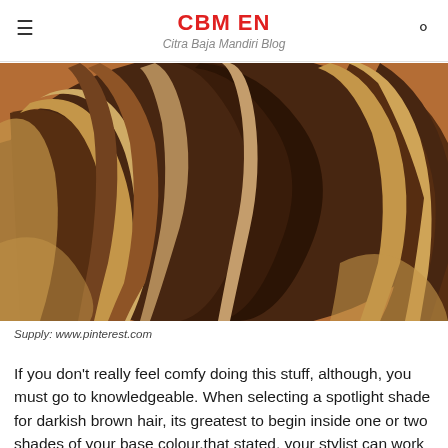CBM EN
Citra Baja Mandiri Blog
[Figure (photo): Close-up photo of wavy highlighted hair with blonde and brown tones on a warm orange background]
Supply: www.pinterest.com
If you don't really feel comfy doing this stuff, although, you must go to knowledgeable. When selecting a spotlight shade for darkish brown hair, its greatest to begin inside one or two shades of your base colour.that stated, your stylist can work with you to attain lighter and brighter highlights time beyond